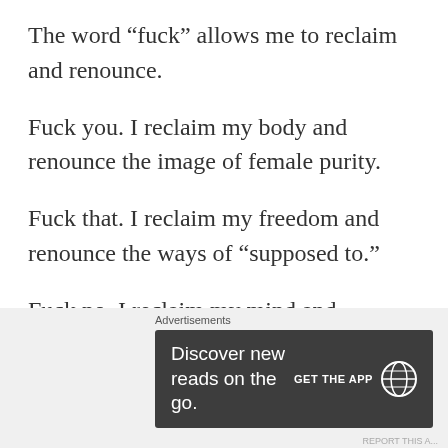The word “fuck” allows me to reclaim and renounce.
Fuck you. I reclaim my body and renounce the image of female purity.
Fuck that. I reclaim my freedom and renounce the ways of “supposed to.”
Fuck no. I reclaim my mind and renounce the cell walls built there.
[Figure (other): Advertisement banner: 'Discover new reads on the go. GET THE APP' with WordPress logo on dark background]